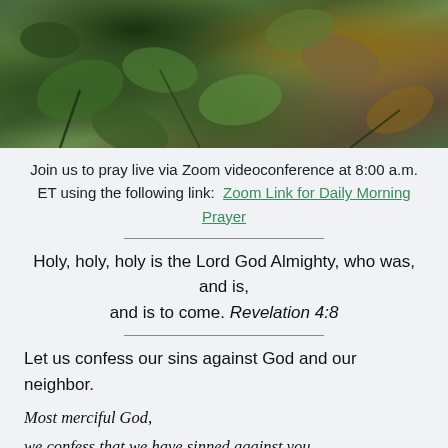[Figure (photo): Close-up photo of green and reddish-brown leaves and foliage plants]
Join us to pray live via Zoom videoconference at 8:00 a.m. ET using the following link:  Zoom Link for Daily Morning Prayer
Holy, holy, holy is the Lord God Almighty, who was, and is, and is to come. Revelation 4:8
Let us confess our sins against God and our neighbor.
Most merciful God,
we confess that we have sinned against you
in thought, word, and deed,
by what we have done,